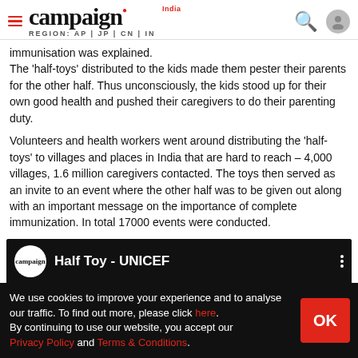campaign India — REGION: AP | JP | CN | IN
immunisation was explained.
The 'half-toys' distributed to the kids made them pester their parents for the other half. Thus unconsciously, the kids stood up for their own good health and pushed their caregivers to do their parenting duty.
Volunteers and health workers went around distributing the 'half-toys' to villages and places in India that are hard to reach – 4,000 villages, 1.6 million caregivers contacted. The toys then served as an invite to an event where the other half was to be given out along with an important message on the importance of complete immunization. In total 17000 events were conducted.
[Figure (screenshot): Video thumbnail showing campaign logo and title 'Half Toy - UNICEF' on a dark background]
We use cookies to improve your experience and to analyse our traffic. To find out more, please click here. By continuing to use our website, you accept our Privacy Policy and Terms & Conditions.